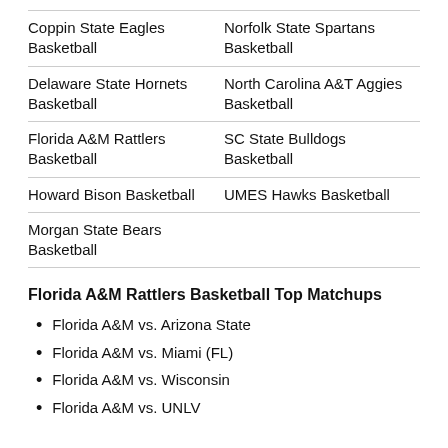| Coppin State Eagles Basketball | Norfolk State Spartans Basketball |
| Delaware State Hornets Basketball | North Carolina A&T Aggies Basketball |
| Florida A&M Rattlers Basketball | SC State Bulldogs Basketball |
| Howard Bison Basketball | UMES Hawks Basketball |
| Morgan State Bears Basketball |  |
Florida A&M Rattlers Basketball Top Matchups
Florida A&M vs. Arizona State
Florida A&M vs. Miami (FL)
Florida A&M vs. Wisconsin
Florida A&M vs. UNLV